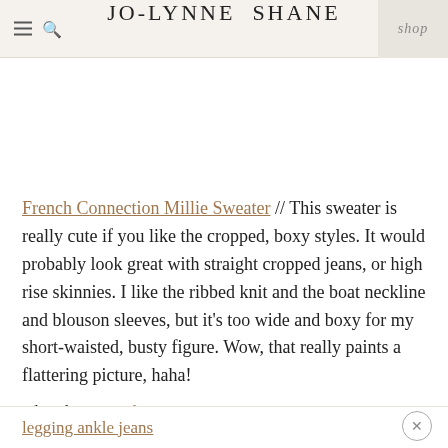JO-LYNNE SHANE | shop
French Connection Millie Sweater // This sweater is really cute if you like the cropped, boxy styles. It would probably look great with straight cropped jeans, or high rise skinnies. I like the ribbed knit and the boat neckline and blouson sleeves, but it's too wide and boxy for my short-waisted, busty figure. Wow, that really paints a flattering picture, haha!
Also shown: Dolce Vita Women's Jenna Boots, AG legging ankle jeans